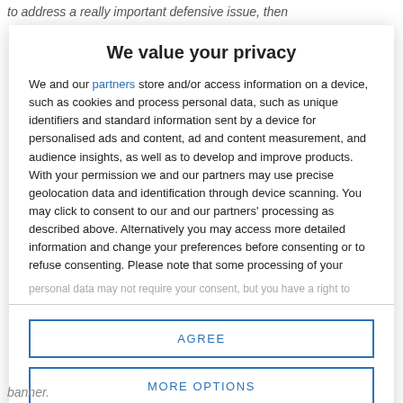to address a really important defensive issue, then
We value your privacy
We and our partners store and/or access information on a device, such as cookies and process personal data, such as unique identifiers and standard information sent by a device for personalised ads and content, ad and content measurement, and audience insights, as well as to develop and improve products. With your permission we and our partners may use precise geolocation data and identification through device scanning. You may click to consent to our and our partners' processing as described above. Alternatively you may access more detailed information and change your preferences before consenting or to refuse consenting. Please note that some processing of your personal data may not require your consent, but you have a right to
AGREE
MORE OPTIONS
banner.